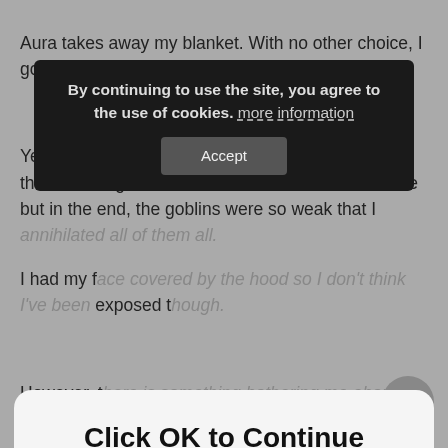Aura takes away my blanket. With no other choice, I go to work today as well.
[Figure (screenshot): Dark cookie consent popup: 'By continuing to use the site, you agree to the use of cookies. more information' with Accept button]
Yesterday I fought an army of [obscured] that detaining them was the best action I could take but in the end, the goblins were so weak that I [annihilated all of them all.]
I had my face covered by the hood so I don't think I've been exposed though.
[Figure (screenshot): White rounded modal popup: 'Click OK to Continue' with blue OK button]
However, there is something bothering me about what I've been hearing from the voices in the vicinity.
“Hey, did you hear!? The story about the one who annihilated the monster army single-handedly!”
“I know! The [Jet-black Saviour]-sama, right!”
Who’s that!? No, the [Jet-black Saviour]-sama is obviously me but….. even so, it’s so uncool!! What’s with that [Jet-black Saviour] title !!
Whild groaning, I hear of someone’s suspicions.